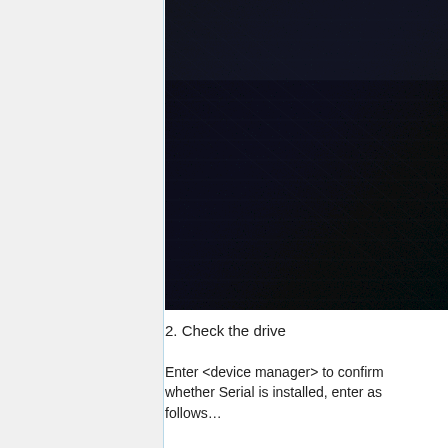[Figure (photo): Close-up photo of a dark navy/black fabric or textile surface with a woven texture visible.]
2. Check the drive
Enter <device manager> to confirm whether Serial is installed, enter as follows...